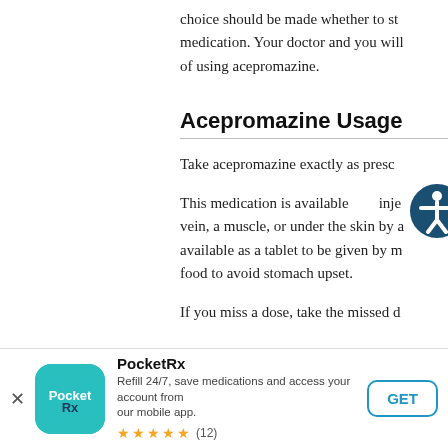choice should be made whether to stop nursing or stop taking this medication. Your doctor and you will discuss the risks and benefits of using acepromazine.
Acepromazine Usage
Take acepromazine exactly as prescribed by your doctor.
This medication is available as an injection that is given into a vein, a muscle, or under the skin by a healthcare professional. It is available as a tablet to be given by mouth with or without food to avoid stomach upset.
If you miss a dose, take the missed d
[Figure (logo): PocketRx mobile app advertisement banner with teal app icon, star rating of 5 stars (12 reviews), and GET button]